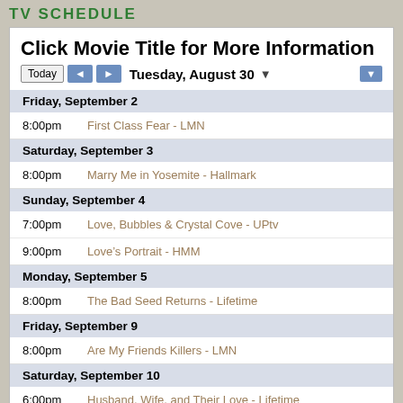TV SCHEDULE
Click Movie Title for More Information
Today  ◄  ►  Tuesday, August 30  ▼
Friday, September 2
8:00pm   First Class Fear - LMN
Saturday, September 3
8:00pm   Marry Me in Yosemite - Hallmark
Sunday, September 4
7:00pm   Love, Bubbles & Crystal Cove - UPtv
9:00pm   Love's Portrait - HMM
Monday, September 5
8:00pm   The Bad Seed Returns - Lifetime
Friday, September 9
8:00pm   Are My Friends Killers - LMN
Saturday, September 10
6:00pm   Husband, Wife, and Their Love - Lifetime
8:00pm   House of Chains - Lifetime
8:00pm   Marry Go Round - Hallmark
Sunday, September 11
7:00pm   Finding Love in Big Sky - UP tv